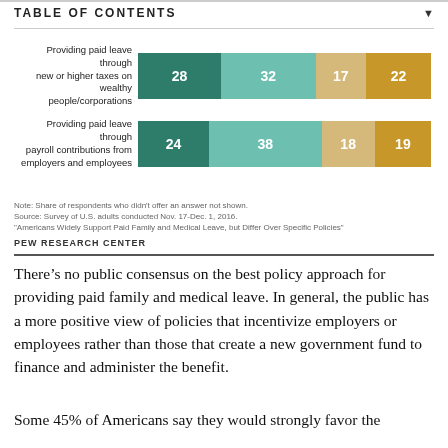TABLE OF CONTENTS
[Figure (stacked-bar-chart): ]
Note: Share of respondents who didn't offer an answer not shown.
Source: Survey of U.S. adults conducted Nov. 17-Dec. 1, 2016.
"Americans Widely Support Paid Family and Medical Leave, but Differ Over Specific Policies"
PEW RESEARCH CENTER
There’s no public consensus on the best policy approach for providing paid family and medical leave. In general, the public has a more positive view of policies that incentivize employers or employees rather than those that create a new government fund to finance and administer the benefit.
Some 45% of Americans say they would strongly favor the